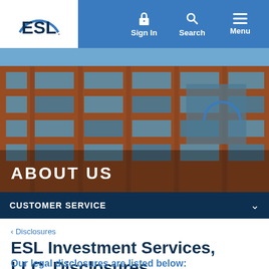[Figure (logo): ESL Federal Credit Union logo - white box with ESL text and arc graphic]
Sign In   Search   Menu
[Figure (photo): Exterior photo of a modern brick office building with large windows, blue sky. ESL logo visible on building facade. Overlaid text: ABOUT US]
CUSTOMER SERVICE
< Disclosures
ESL Investment Services, LLC, Disclosures
Our legal disclosures are listed below: